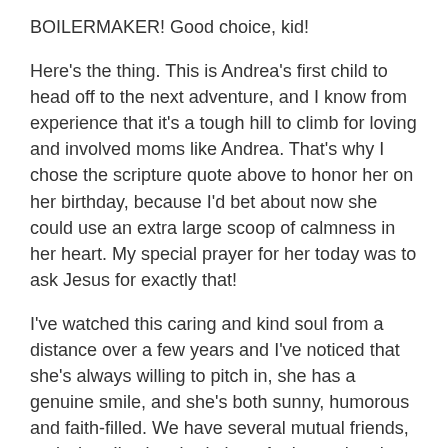BOILERMAKER! Good choice, kid!
Here's the thing. This is Andrea's first child to head off to the next adventure, and I know from experience that it's a tough hill to climb for loving and involved moms like Andrea. That's why I chose the scripture quote above to honor her on her birthday, because I'd bet about now she could use an extra large scoop of calmness in her heart. My special prayer for her today was to ask Jesus for exactly that!
I've watched this caring and kind soul from a distance over a few years and I've noticed that she's always willing to pitch in, she has a genuine smile, and she's both sunny, humorous and faith-filled. We have several mutual friends, and when I've inquired about Andrea, what they always say is the same. They use slightly different words, like considerate, courteous, understanding and good-hearted…but they all boil down to one common denominator. She's just plain KIND.